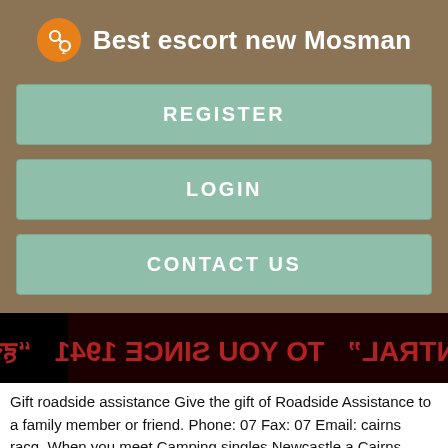Best escort new Mosman
REGISTER
LOGIN
CONTACT US
[Figure (photo): Mirrored/flipped sign text reading: "CENTRAL" TO YOU SINCE 1941 with Hindi/Devanagari text, displayed on a dark red background]
Gift roadside assistance Give the gift of Roadside Assistance to a family member or friend. Phone: 07 Fax: 07 Email: cairns racq. When you meet Camping singles Newcastle a Cairns Bakn representative you will be asked to show a number of documents relating to Cairns savings bank online identity as well as your financial status, so it is worth taking the effort to make sure you have as many of these as possible available at the time